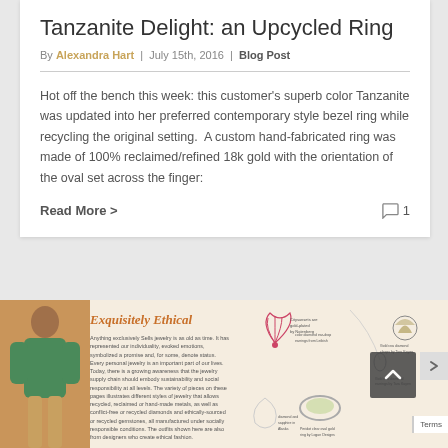Tanzanite Delight: an Upcycled Ring
By Alexandra Hart | July 15th, 2016 | Blog Post
Hot off the bench this week: this customer's superb color Tanzanite was updated into her preferred contemporary style bezel ring while recycling the original setting.  A custom hand-fabricated ring was made of 100% reclaimed/refined 18k gold with the orientation of the oval set across the finger:
Read More >
1
[Figure (infographic): Exquisitely Ethical infographic about ethical jewelry with woman figure on left, jewelry items on right, and descriptive text in the center on a beige/cream background]